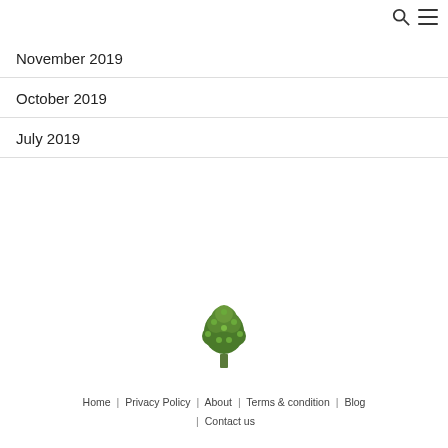search and menu icons
November 2019
October 2019
July 2019
[Figure (illustration): Green tree logo/icon]
Home | Privacy Policy | About | Terms & condition | Blog | Contact us